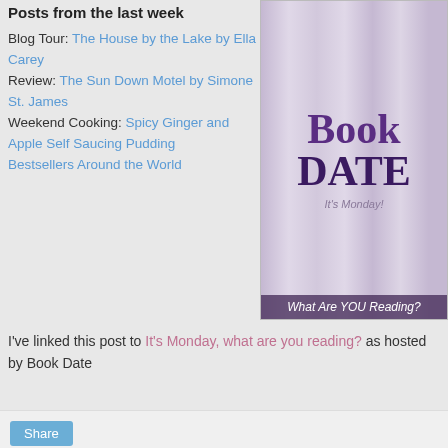Posts from the last week
Blog Tour: The House by the Lake by Ella Carey
Review: The Sun Down Motel by Simone St. James
Weekend Cooking: Spicy Ginger and Apple Self Saucing Pudding
Bestsellers Around the World
[Figure (illustration): Book Date blog button showing 'Book DATE' in large purple text with vertical stripe background and 'It's Monday! What Are YOU Reading?' text below]
I've linked this post to It's Monday, what are you reading? as hosted by Book Date
Marg at 9:00 am
Share